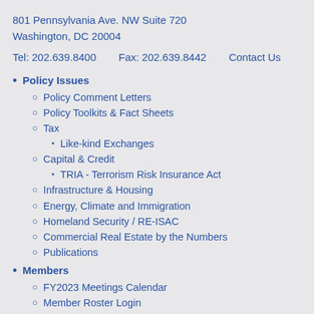801 Pennsylvania Ave. NW Suite 720
Washington, DC 20004
Tel: 202.639.8400    Fax: 202.639.8442    Contact Us
Policy Issues
Policy Comment Letters
Policy Toolkits & Fact Sheets
Tax
Like-kind Exchanges
Capital & Credit
TRIA - Terrorism Risk Insurance Act
Infrastructure & Housing
Energy, Climate and Immigration
Homeland Security / RE-ISAC
Commercial Real Estate by the Numbers
Publications
Members
FY2023 Meetings Calendar
Member Roster Login
Policy Advisory Committees